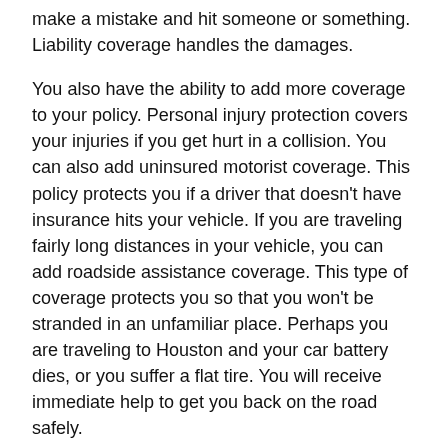make a mistake and hit someone or something. Liability coverage handles the damages.
You also have the ability to add more coverage to your policy. Personal injury protection covers your injuries if you get hurt in a collision. You can also add uninsured motorist coverage. This policy protects you if a driver that doesn't have insurance hits your vehicle. If you are traveling fairly long distances in your vehicle, you can add roadside assistance coverage. This type of coverage protects you so that you won't be stranded in an unfamiliar place. Perhaps you are traveling to Houston and your car battery dies, or you suffer a flat tire. You will receive immediate help to get you back on the road safely.
Hermes Insurance Solutions Will Help You Cover Your Assets
Visit our website to learn more information about auto insurance.